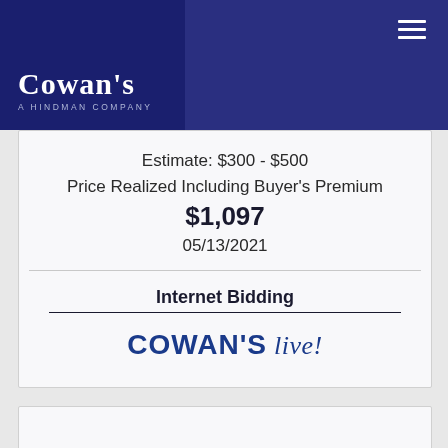[Figure (logo): Cowan's - A Hindman Company logo, white text on dark navy blue background]
Estimate: $300 - $500
Price Realized Including Buyer's Premium
$1,097
05/13/2021
Internet Bidding
[Figure (logo): Cowan's live! logo in blue text]